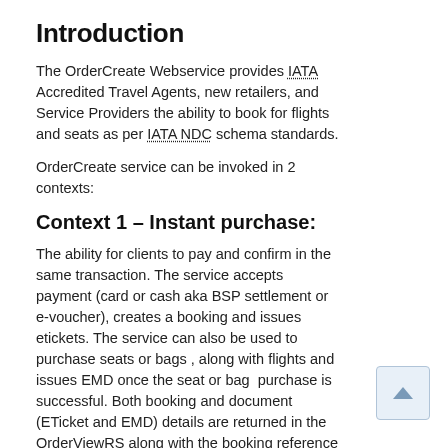Introduction
The OrderCreate Webservice provides IATA Accredited Travel Agents, new retailers, and Service Providers the ability to book for flights and seats as per IATA NDC schema standards.
OrderCreate service can be invoked in 2 contexts:
Context 1 – Instant purchase:
The ability for clients to pay and confirm in the same transaction. The service accepts payment (card or cash aka BSP settlement or e-voucher), creates a booking and issues etickets. The service can also be used to purchase seats or bags , along with flights and issues EMD once the seat or bag  purchase is successful. Both booking and document (ETicket and EMD) details are returned in the OrderViewRS along with the booking reference (PNR).